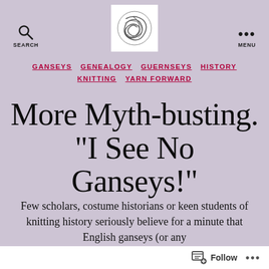SEARCH [logo] MENU
GANSEYS  GENEALOGY  GUERNSEYS  HISTORY  KNITTING  YARN FORWARD
More Myth-busting. "I See No Ganseys!"
Few scholars, costume historians or keen students of knitting history seriously believe for a minute that English ganseys (or any
Follow ...